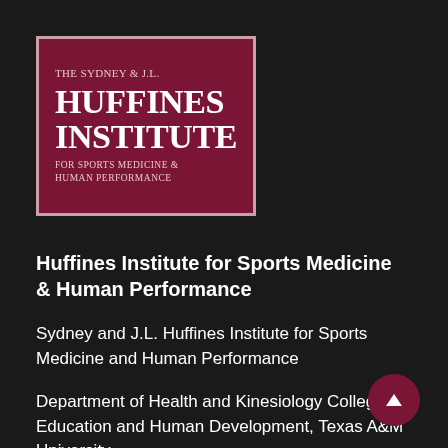[Figure (logo): The Sydney & J.L. Huffines Institute for Sports Medicine & Human Performance logo — dark red/maroon rectangle with white border and serif text]
Huffines Institute for Sports Medicine & Human Performance
Sydney and J.L. Huffines Institute for Sports Medicine and Human Performance
Department of Health and Kinesiology College of Education and Human Development, Texas A&M University